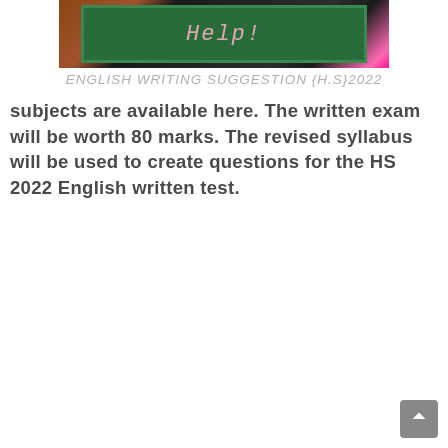[Figure (photo): Chalkboard image with decorative elements and pink/magenta accents at edges, with handwritten chalk text]
ENGLISH WRITING SUGGESTION {H.S}2022
subjects are available here. The written exam will be worth 80 marks. The revised syllabus will be used to create questions for the HS 2022 English written test.